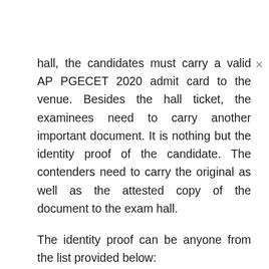hall, the candidates must carry a valid AP PGECET 2020 admit card to the venue. Besides the hall ticket, the examinees need to carry another important document. It is nothing but the identity proof of the candidate. The contenders need to carry the original as well as the attested copy of the document to the exam hall.
The identity proof can be anyone from the list provided below:
PAN Card